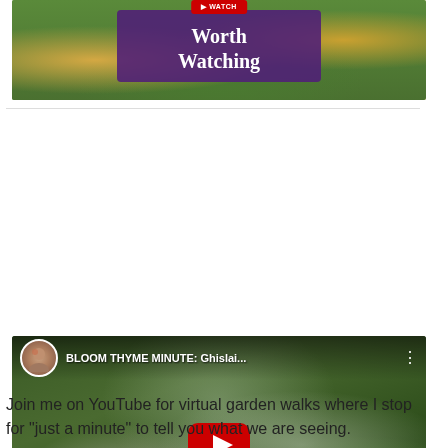[Figure (screenshot): YouTube thumbnail with purple overlay showing 'Worth Watching' text over yellow/white flowering roses background, with a red badge at top]
[Figure (screenshot): YouTube video embed showing 'BLOOM THYME MINUTE: Ghislai...' with a channel avatar, play button, and white roses/flowers background]
Join me on YouTube for virtual garden walks where I stop for "just a minute" to tell you what we are seeing.